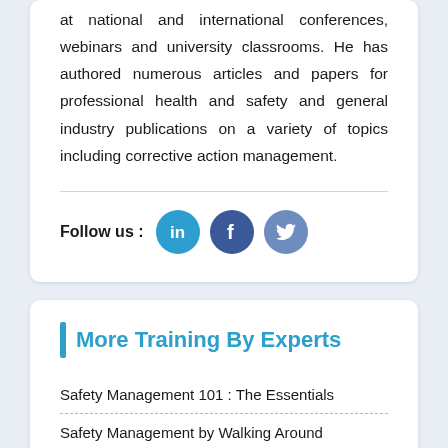at national and international conferences, webinars and university classrooms. He has authored numerous articles and papers for professional health and safety and general industry publications on a variety of topics including corrective action management.
Follow us :
[Figure (infographic): Three social media icons: LinkedIn (blue circle with 'in'), Facebook (dark blue circle with 'f'), Twitter (medium blue circle with bird icon)]
More Training By Experts
Safety Management 101 : The Essentials
Safety Management by Walking Around